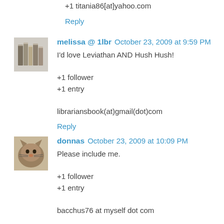+1 titania86[at]yahoo.com
Reply
melissa @ 1lbr  October 23, 2009 at 9:59 PM
I'd love Leviathan AND Hush Hush!

+1 follower
+1 entry

librariansbook(at)gmail(dot)com
Reply
donnas  October 23, 2009 at 10:09 PM
Please include me.

+1 follower
+1 entry

bacchus76 at myself dot com